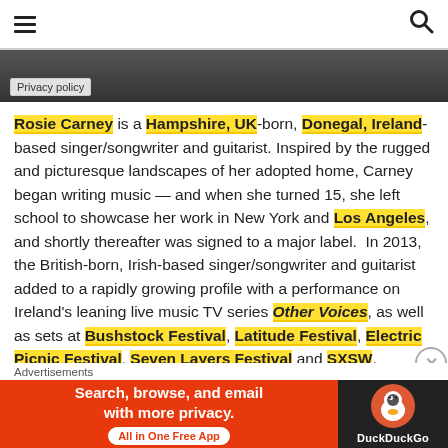≡  🔍
[Figure (photo): Partial photo of Rosie Carney, mostly dark/black, with a Privacy policy badge overlay at bottom left]
Rosie Carney is a Hampshire, UK-born, Donegal, Ireland-based singer/songwriter and guitarist. Inspired by the rugged and picturesque landscapes of her adopted home, Carney began writing music — and when she turned 15, she left school to showcase her work in New York and Los Angeles, and shortly thereafter was signed to a major label. In 2013, the British-born, Irish-based singer/songwriter and guitarist added to a rapidly growing profile with a performance on Ireland's leaning live music TV series Other Voices, as well as sets at Bushstock Festival, Latitude Festival, Electric Picnic Festival, Seven Layers Festival and SXSW. Additionally, Carney opened for Haux on a 28-date tour of 12 countries that included stops in the US and Canada
[Figure (advertisement): DuckDuckGo advertisement banner: orange background on left with text 'Search, browse, and email with more privacy. All in One Free App', dark background on right with DuckDuckGo duck logo and DuckDuckGo text]